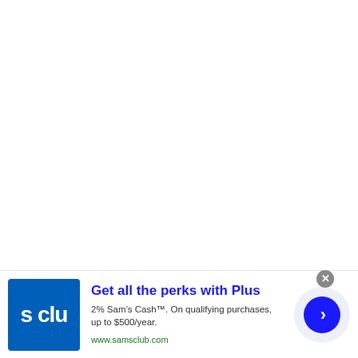[Figure (other): Large white blank area occupying the top portion of the page]
[Figure (other): Sam's Club advertisement banner at bottom. Contains Sam's Club logo (blue square with 's clu' text), headline 'Get all the perks with Plus', body text '2% Sam’s Cash™. On qualifying purchases, up to $500/year.', URL 'www.samsclub.com', and a blue arrow button on the right. Also shows a close (X) button and ad indicator triangle.]
Get all the perks with Plus
2% Sam’s Cash™. On qualifying purchases, up to $500/year.
www.samsclub.com